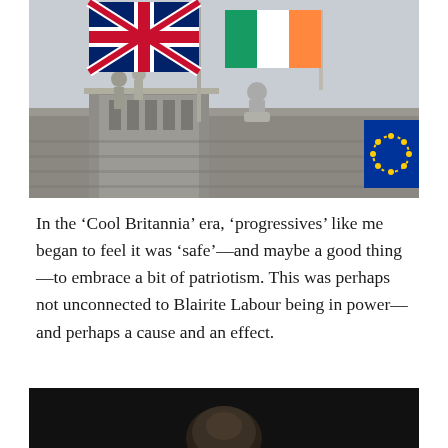[Figure (photo): Photograph of the Union Jack (UK flag) and Irish tricolor flying on flagpoles above a grand stone building with statues, with the EU flag partially visible at the right edge. Sky is overcast grey.]
In the ‘Cool Britannia’ era, ‘progressives’ like me began to feel it was ‘safe’—and maybe a good thing—to embrace a bit of patriotism. This was perhaps not unconnected to Blairite Labour being in power—and perhaps a cause and an effect.
[Figure (photo): Partial photograph showing the top of a person's head against a dark background, cut off at the bottom of the page.]